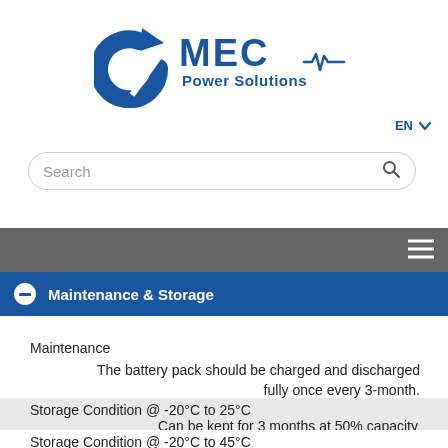[Figure (logo): MEC Power Solutions logo — blue circular arrow symbol on left, bold blue 'MEC' text on right, 'Power Solutions' tagline below with an ECG/heartbeat line graphic]
EN ∨
Search
Maintenance & Storage
Maintenance
The battery pack should be charged and discharged fully once every 3-month.
Storage Condition @ -20°C to 25°C
Can be kept for 3 months at 50% capacity
Storage Condition @ -20°C to 45°C